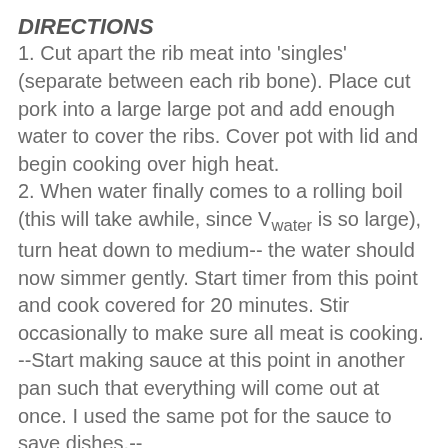DIRECTIONS
1. Cut apart the rib meat into 'singles' (separate between each rib bone). Place cut pork into a large large pot and add enough water to cover the ribs. Cover pot with lid and begin cooking over high heat.
2. When water finally comes to a rolling boil (this will take awhile, since Vwater is so large), turn heat down to medium-- the water should now simmer gently. Start timer from this point and cook covered for 20 minutes. Stir occasionally to make sure all meat is cooking.
--Start making sauce at this point in another pan such that everything will come out at once. I used the same pot for the sauce to save dishes.--
3. Once time has passed, carefully pour out